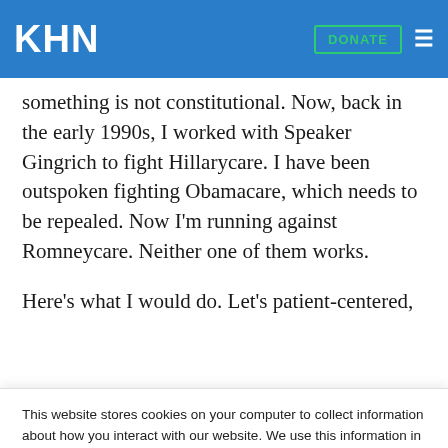KHN | DONATE
something is not constitutional. Now, back in the early 1990s, I worked with Speaker Gingrich to fight Hillarycare. I have been outspoken fighting Obamacare, which needs to be repealed. Now I’m running against Romneycare. Neither one of them works.
Here’s what I would do. Let’s patient-centered,
This website stores cookies on your computer to collect information about how you interact with our website. We use this information in order to improve and customize your browsing experience and for analytics and metrics about our visitors both on this website and other media. To find out more about the cookies we use, see our Privacy Policy.
Accept